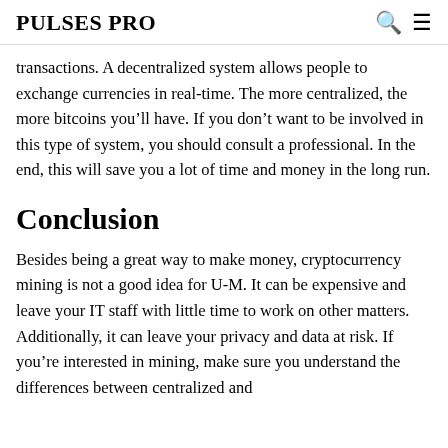PULSES PRO
transactions. A decentralized system allows people to exchange currencies in real-time. The more centralized, the more bitcoins you’ll have. If you don’t want to be involved in this type of system, you should consult a professional. In the end, this will save you a lot of time and money in the long run.
Conclusion
Besides being a great way to make money, cryptocurrency mining is not a good idea for U-M. It can be expensive and leave your IT staff with little time to work on other matters. Additionally, it can leave your privacy and data at risk. If you’re interested in mining, make sure you understand the differences between centralized and